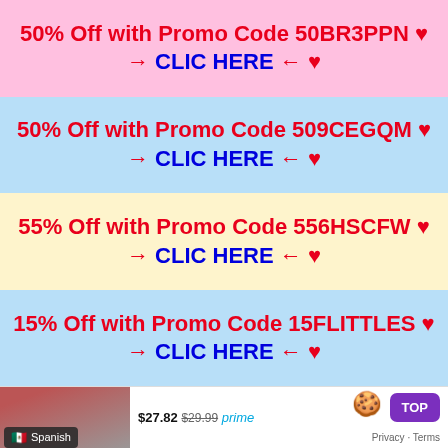50% Off with Promo Code 50BR3PPN ♥ → CLIC HERE ← ♥
50% Off with Promo Code 509CEGQM ♥ → CLIC HERE ← ♥
55% Off with Promo Code 556HSCFW ♥ → CLIC HERE ← ♥
15% Off with Promo Code 15FLITTLES ♥ → CLIC HERE ← ♥
[Figure (screenshot): Screenshot of an e-commerce product listing showing a product image, a Spanish language badge with Mexican flag, a price of $27.82 with crossed-out $29.99, and Amazon Prime label. A purple TOP button and Privacy-Terms link are overlaid in the bottom-right corner.]